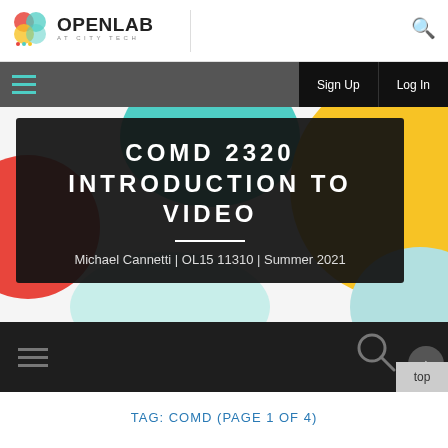[Figure (logo): OpenLab at City Tech logo with colorful circular icon]
OPENLAB AT CITY TECH — Sign Up | Log In
[Figure (illustration): Colorful abstract background with red, green, yellow, teal shapes]
COMD 2320 INTRODUCTION TO VIDEO
Michael Cannetti | OL15 11310 | Summer 2021
TAG: COMD (PAGE 1 OF 4)